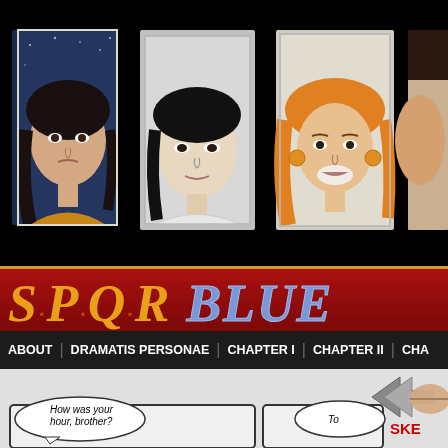[Figure (illustration): Four character portrait illustrations in a row against black background. First: dark-haired woman with blue starry background; Second: dark-haired person in gray/sketch style; Third: orange/golden-haired woman eating something; Fourth: partially visible character cropped at right edge.]
S·P·Q·R BLUE
[Figure (screenshot): Navigation bar with links: ABOUT | DRAMATIS PERSONAE | CHAPTER I | CHAPTER II | CHA...]
[Figure (illustration): Comic page content area. Back navigation arrow icon. 'SKE' text label in red. Two comic panels at bottom: first panel with speech bubble 'How was your hour, brother?', second panel partially visible with speech bubble 'To'.]